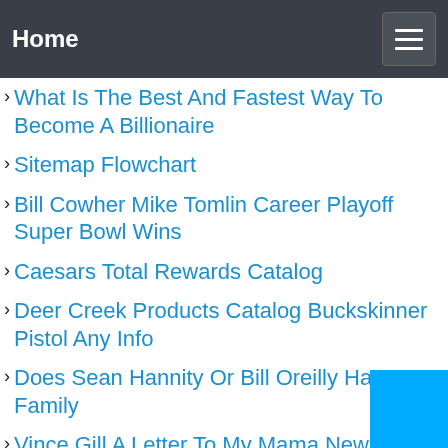Home
What Is The Best And Fastest Way To Become A Billionaire
Sitemap Flowchart
Bill Cowher Mike Tomlin Career Playoff Super Bowl Wins
Caesars Total Rewards Catalog
Deer Creek Products Catalog Buckskinner Pistol Any Info
Does Sean Hannity Or Bill Oreilly Have A Family
Vince Gill A Letter To My Mama New Album
Pacific Palisades Charter
Daughter Of Billy Graham Warns Of Coming Judgement
Lam The Nao De Format Code Trong Visual Studio Code Vscode
Mstore Multi Vendor Complete React Native Template Woocommerce